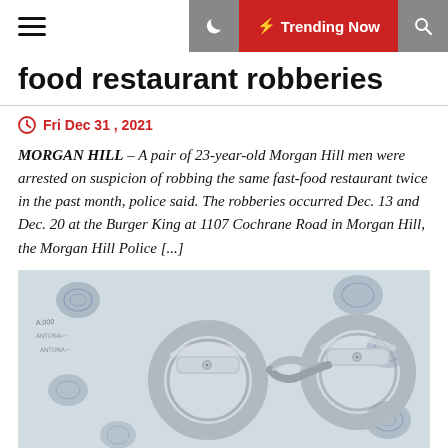Trending Now
food restaurant robberies
Fri Dec 31 , 2021
MORGAN HILL – A pair of 23-year-old Morgan Hill men were arrested on suspicion of robbing the same fast-food restaurant twice in the past month, police said. The robberies occurred Dec. 13 and Dec. 20 at the Burger King at 1107 Cochrane Road in Morgan Hill, the Morgan Hill Police [...]
[Figure (photo): Handcuffs resting on fingerprint record sheets with multiple ink fingerprints visible]